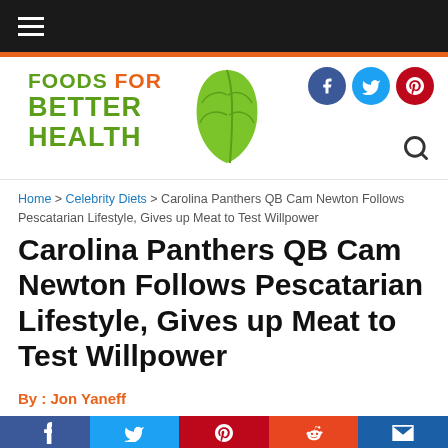Foods For Better Health — navigation bar
[Figure (logo): Foods For Better Health logo with green text and leaf graphic]
Home > Celebrity Diets > Carolina Panthers QB Cam Newton Follows Pescatarian Lifestyle, Gives up Meat to Test Willpower
Carolina Panthers QB Cam Newton Follows Pescatarian Lifestyle, Gives up Meat to Test Willpower
By : Jon Yaneff